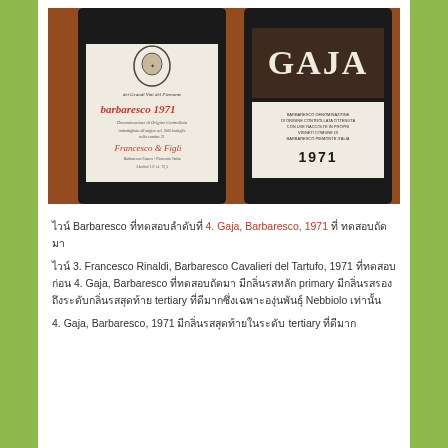[Figure (photo): Two wine bottles of 1971 Barbaresco: left bottle is Francesco Rinaldi Barbaresco Cavalieri del Tartufo 1971 with a cream label showing a crest and red italic text; right bottle is Gaja Barbaresco 1971 with a dark brown label showing GAJA in large white serif font and a cream lower label showing 1971. Bottles are set on a reddish-brown wooden surface.]
ไวน์ Barbaresco ที่ทดสอบลำดับที่ 4. Gaja, Barbaresco, 1971 ที่ ทดสอบถัดมา
ไวน์ 3. Francesco Rinaldi, Barbaresco Cavalieri del Tartufo, 1971 ที่ทดสอบก่อน 4. Gaja, Barbaresco ที่ทดสอบถัดมา มีกลิ่นรสหลัก primary มีกลิ่นรสรองถึงระดับกลิ่นรสสุดท้าย tertiary ที่ดีมากซึ่งเฉพาะองุ่นพันธุ์ Nebbiolo เท่านั้น
4. Gaja, Barbaresco, 1971 มีกลิ่นรสสุดท้ายในระดับ tertiary ที่ดีมาก